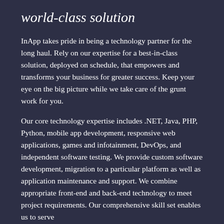world-class solution
InApp takes pride in being a technology partner for the long haul. Rely on our expertise for a best-in-class solution, deployed on schedule, that empowers and transforms your business for greater success. Keep your eye on the big picture while we take care of the grunt work for you.
Our core technology expertise includes .NET, Java, PHP, Python, mobile app development, responsive web applications, games and infotainment, DevOps, and independent software testing. We provide custom software development, migration to a particular platform as well as application maintenance and support. We combine appropriate front-end and back-end technology to meet project requirements. Our comprehensive skill set enables us to serve